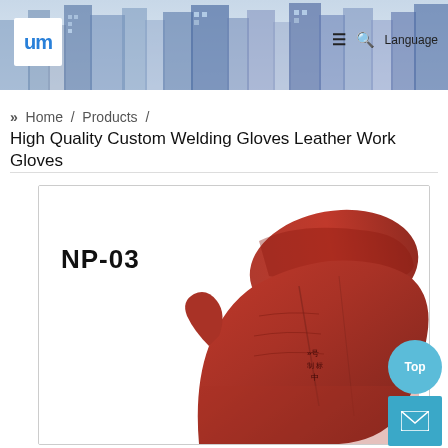UM logo / navigation header with city skyline background
» Home / Products /
High Quality Custom Welding Gloves Leather Work Gloves
[Figure (photo): Red leather welding glove (NP-03) shown against white background inside a bordered card. The glove has Chinese text stamped on it. Label NP-03 appears in bold black text on the left side of the image.]